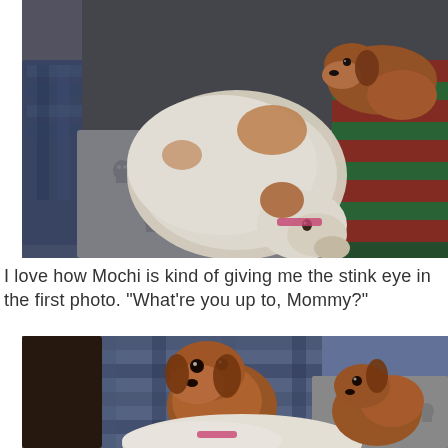[Figure (photo): Two dogs on a couch with patterned blankets. A white and brown dog is curled up on the left, while a brown dachshund sits in the upper right. Various skull-patterned and red/green striped blankets are visible.]
I love how Mochi is kind of giving me the stink eye in the first photo. "What're you up to, Mommy?"
[Figure (photo): Three dogs on a blue plaid couch. A brown dachshund in the center looks directly at the camera, another brown dog is to the right, and a white dog is in the foreground. Skull-patterned blankets visible.]